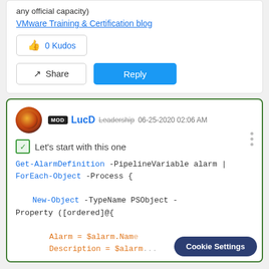any official capacity)
VMware Training & Certification blog
0 Kudos
Share
Reply
MOD LucD Leadership 06-25-2020 02:06 AM
Let's start with this one
Get-AlarmDefinition -PipelineVariable alarm | ForEach-Object -Process {
New-Object -TypeName PSObject -Property ([ordered]@{
Alarm = $alarm.Nam...
Description = $alarm...
Cookie Settings